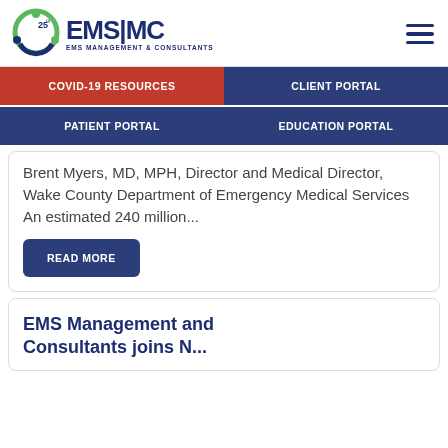[Figure (logo): EMS Management & Consultants logo with 25th anniversary badge — circular green/blue icon with figures, EMS|MC text in navy, tagline EMS MANAGEMENT & CONSULTANTS]
COVID-19 RESOURCES
CLIENT PORTAL
PATIENT PORTAL
EDUCATION PORTAL
Brent Myers, MD, MPH, Director and Medical Director, Wake County Department of Emergency Medical Services An estimated 240 million...
READ MORE
EMS Management and Consultants joins N...